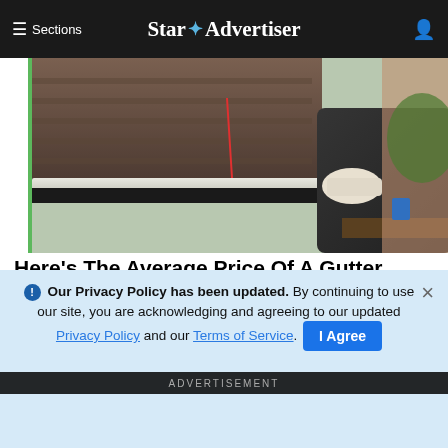Sections | Star Advertiser
[Figure (photo): Person in work clothes and gloves cleaning or installing a gutter on a roofline, with shingles visible and a house in the background]
Here's The Average Price Of A Gutter Protection
See search results for gutter protection
LeafFilter Partner | Sponsored
Search Now
[Figure (photo): Partial view of a second advertisement image showing what appears to be a baseball glove and other items]
ADVERTISEMENT
Our Privacy Policy has been updated. By continuing to use our site, you are acknowledging and agreeing to our updated Privacy Policy and our Terms of Service. I Agree